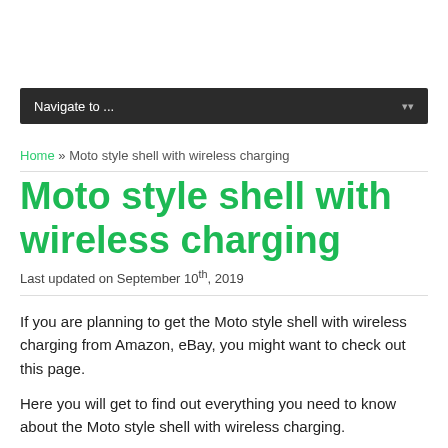Navigate to ...
Home » Moto style shell with wireless charging
Moto style shell with wireless charging
Last updated on September 10th, 2019
If you are planning to get the Moto style shell with wireless charging from Amazon, eBay, you might want to check out this page.
Here you will get to find out everything you need to know about the Moto style shell with wireless charging.